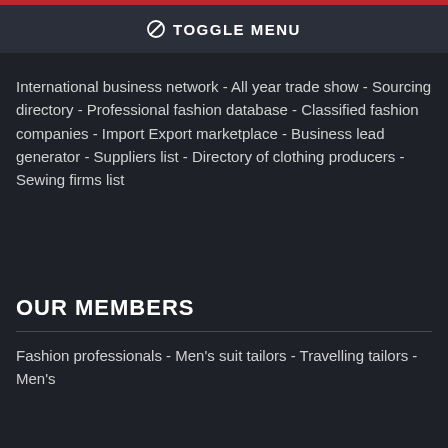⊘ TOGGLE MENU
International business network - All year trade show - Sourcing directory - Professional fashion database - Classified fashion companies - Import Export marketplace - Business lead generator - Suppliers list - Directory of clothing producers - Sewing firms list
OUR MEMBERS
Fashion professionals - Men's suit tailors - Travelling tailors - Men's